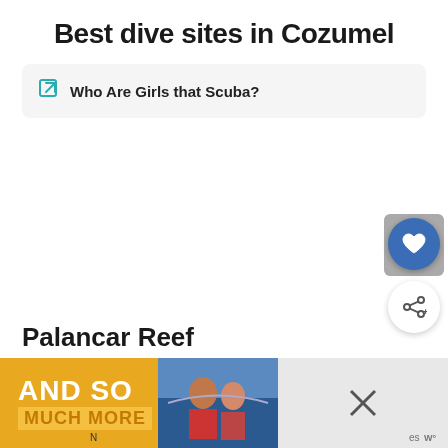Best dive sites in Cozumel
Who Are Girls that Scuba?
Palancar Reef
[Figure (screenshot): Advertisement banner with yellow background reading AND SO MUCH MORE with a photo of two people and close/control buttons]